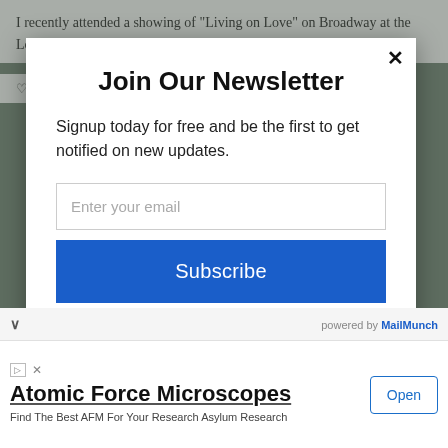I recently attended a showing of "Living on Love" on Broadway at the Longacre Theater in NYC. I wasn't sure what to expect but...
Join Our Newsletter
Signup today for free and be the first to get notified on new updates.
Enter your email
Subscribe
powered by MailMunch
Atomic Force Microscopes
Find The Best AFM For Your Research Asylum Research
Open